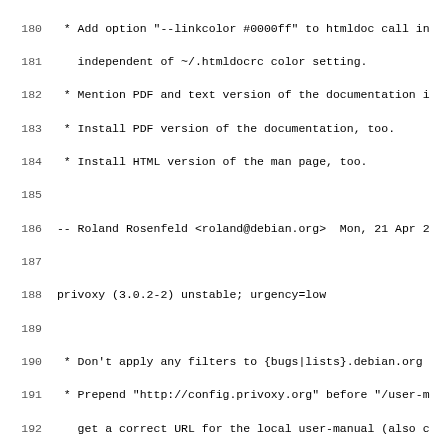Debian changelog / changelog snippet for privoxy package, lines 180-211
180  * Add option "--linkcolor #0000ff" to htmldoc call in
181    independent of ~/.htmldocrc color setting.
182  * Mention PDF and text version of the documentation i
183  * Install PDF version of the documentation, too.
184  * Install HTML version of the man page, too.
185
186 -- Roland Rosenfeld <roland@debian.org>  Mon, 21 Apr 2
187
188 privoxy (3.0.2-2) unstable; urgency=low
189
190  * Don't apply any filters to {bugs|lists}.debian.org
191  * Prepend "http://config.privoxy.org" before "/user-m
192    get a correct URL for the local user-manual (also c
193    (Closes SF-719724).
194
195 -- Roland Rosenfeld <roland@debian.org>  Sun, 13 Apr 2
196
197 privoxy (3.0.2-1) unstable; urgency=low
198
199  * New upstream version 3.0.2.
200  * Update Standards-Version to 3.5.9 (no changes).
201
202 -- Roland Rosenfeld <roland@debian.org>  Wed, 26 Mar 2
203
204 privoxy (3.0.0-6) unstable; urgency=low
205
206  * Fixed a bug in local user-manual patch, which faile
207    http://config.privoxy.org/user-manual/ (without a t
208
209 -- Roland Rosenfeld <roland@debian.org>  Sun,  2 Mar 2
210
211 privoxy (3.0.0-5) unstable; urgency=low